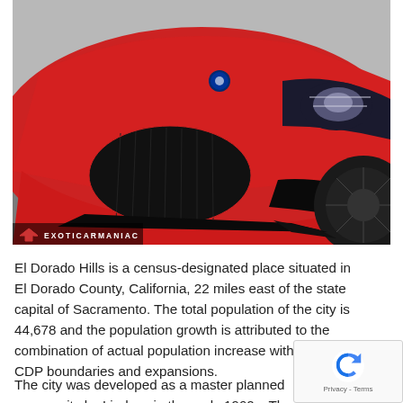[Figure (photo): Front close-up photo of a red Maserati GranTurismo sports car with black grille and wheels, with a watermark logo reading 'EXOTICARMANIAC' in the lower left corner.]
El Dorado Hills is a census-designated place situated in El Dorado County, California, 22 miles east of the state capital of Sacramento. The total population of the city is 44,678 and the population growth is attributed to the combination of actual population increase within 2000 CDP boundaries and expansions.
The city was developed as a master planned community by Lindsey in the early 1960s. The master plan covered an area of the